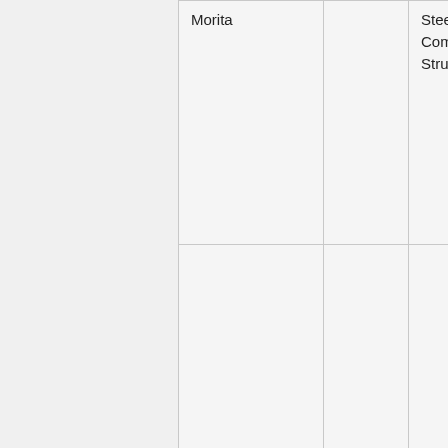| Author | Year | Title |
| --- | --- | --- |
| Morita |  | Steel-Concrete Composite Structures |
| Tsuji & Yang | 1994 | Steel Concrete Composite Structures |
| Fujii... | 199... | Composite Construction— |